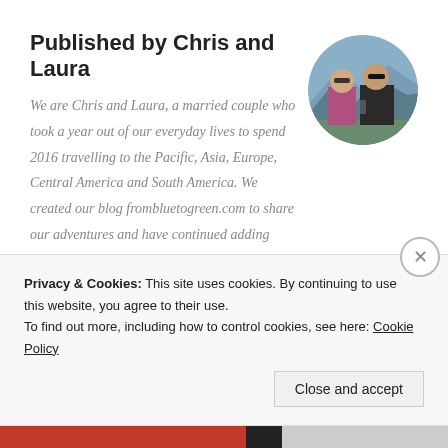Published by Chris and Laura
[Figure (photo): Circular cropped photo of a couple (Chris and Laura) standing outdoors with mountains in the background. Man wearing sunglasses and dark jacket, woman in pink/purple jacket.]
We are Chris and Laura, a married couple who took a year out of our everyday lives to spend 2016 travelling to the Pacific, Asia, Europe, Central America and South America. We created our blog frombluetogreen.com to share our adventures and have continued adding travel posts since returning home at the end of 2016. View all posts by Chris and Laura
Privacy & Cookies: This site uses cookies. By continuing to use this website, you agree to their use.
To find out more, including how to control cookies, see here: Cookie Policy
Close and accept